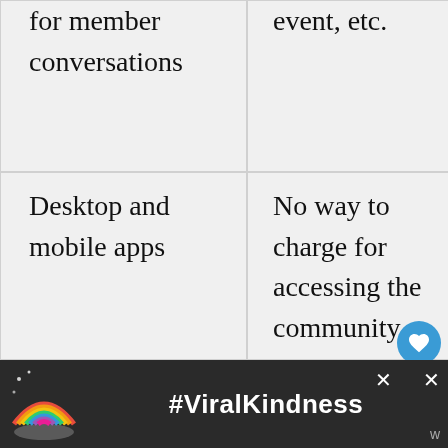| …for member conversations | …event, etc. |
| Desktop and mobile apps | No way to charge for accessing the community |
Wildlife is a Telegram Channel that shares fun… and more.
[Figure (other): Advertisement banner with rainbow illustration and #ViralKindness text on dark background]